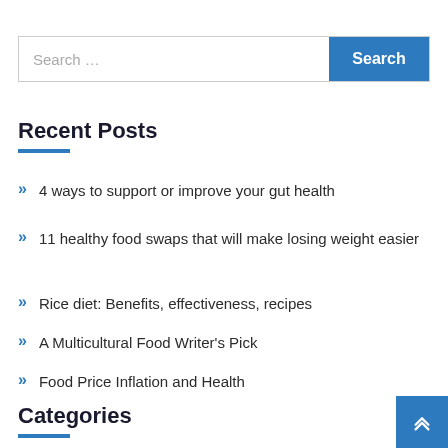Search …
Recent Posts
4 ways to support or improve your gut health
11 healthy food swaps that will make losing weight easier
Rice diet: Benefits, effectiveness, recipes
A Multicultural Food Writer's Pick
Food Price Inflation and Health
Categories